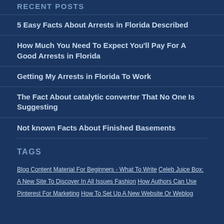RECENT POSTS
5 Easy Facts About Arrests in Florida Described
How Much You Need To Expect You'll Pay For A Good Arrests in Florida
Getting My Arrests in Florida To Work
The Fact About catalytic converter That No One Is Suggesting
Not known Facts About Finished Basements
TAGS
Blog Content Material For Beginners - What To Write Celeb Juice Box: A New Site To Discover In All Issues Fashion How Authors Can Use Pinterest For Marketing How To Set Up A New Website Or Weblog